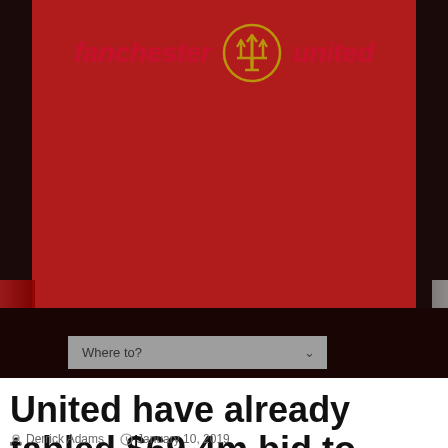[Figure (logo): Fanchester United logo with red italic text and gold trident symbol]
[Figure (screenshot): Navigation bar with 'Where to?' dropdown selector on dark red background]
United have already tabled $69.4m bid to sign 23-year-old
Derrick Adams  January 10, 2019